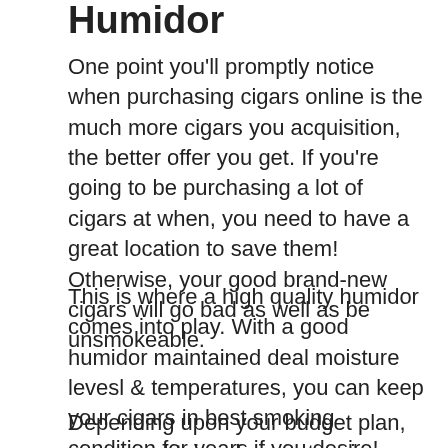Humidor
One point you'll promptly notice when purchasing cigars online is the much more cigars you acquisition, the better offer you get. If you're going to be purchasing a lot of cigars at when, you need to have a great location to save them! Otherwise, your good brand-new cigars will go bad as well as be unsmokeable.
This is where a high quality humidor comes into play. With a good humidor maintained deal moisture levesl & temperatures, you can keep your cigars in best smoking condition for years if you desire!
Depending upon your budget plan, you can obtain a huge, stunning wood humidor...